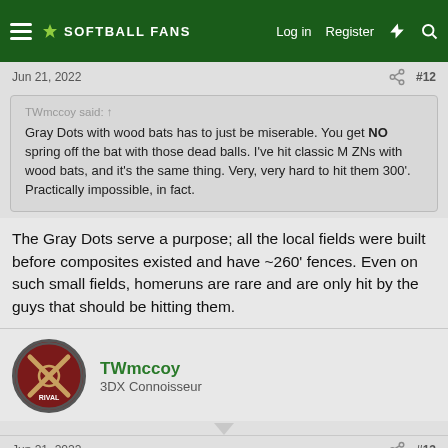⚡ SOFTBALL FANS   Log in   Register
Jun 21, 2022   #12
TWmccoy said: ↑  Gray Dots with wood bats has to just be miserable. You get NO spring off the bat with those dead balls. I've hit classic M ZNs with wood bats, and it's the same thing. Very, very hard to hit them 300'. Practically impossible, in fact.
The Gray Dots serve a purpose; all the local fields were built before composites existed and have ~260' fences. Even on such small fields, homeruns are rare and are only hit by the guys that should be hitting them.
TWmccoy
3DX Connoisseur
Jun 21, 2022   #13